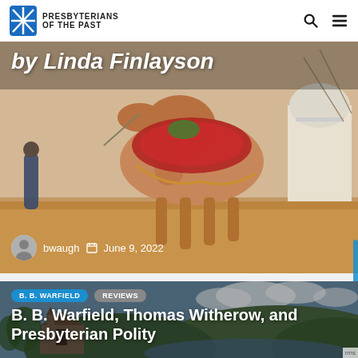Presbyterians of the Past
[Figure (photo): Partial article card showing a camel illustration with an ornate saddle and a domed building in the background. Title text 'by Linda Finlayson' visible at top. Author 'bwaugh' and date 'June 9, 2022' shown at bottom.]
bwaugh  June 9, 2022
[Figure (photo): Article card for 'B. B. Warfield, Thomas Witherow, and Presbyterian Polity' showing a landscape with a lake, hills, and a church building. Tags: 'B. B. WARFIELD' and 'REVIEWS'.]
B. B. Warfield, Thomas Witherow, and Presbyterian Polity